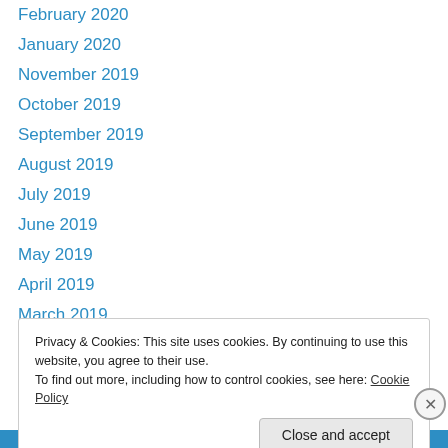February 2020
January 2020
November 2019
October 2019
September 2019
August 2019
July 2019
June 2019
May 2019
April 2019
March 2019
February 2019
January 2019
Privacy & Cookies: This site uses cookies. By continuing to use this website, you agree to their use.
To find out more, including how to control cookies, see here: Cookie Policy